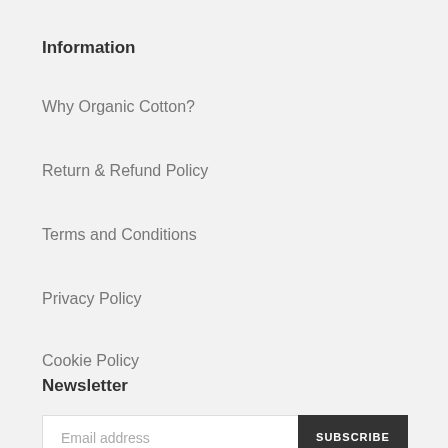Information
Why Organic Cotton?
Return & Refund Policy
Terms and Conditions
Privacy Policy
Cookie Policy
Newsletter
Email address
SUBSCRIBE